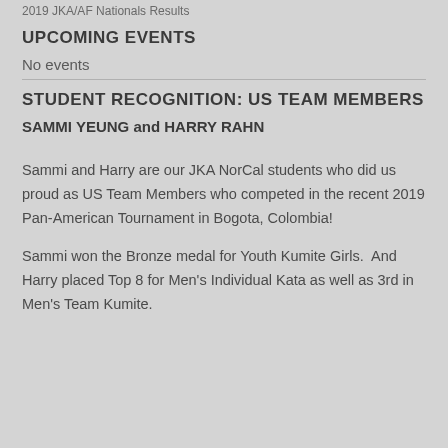2019 JKA/AF Nationals Results
UPCOMING EVENTS
No events
STUDENT RECOGNITION: US TEAM MEMBERS
SAMMI YEUNG and HARRY RAHN
Sammi and Harry are our JKA NorCal students who did us proud as US Team Members who competed in the recent 2019 Pan-American Tournament in Bogota, Colombia!
Sammi won the Bronze medal for Youth Kumite Girls.  And Harry placed Top 8 for Men's Individual Kata as well as 3rd in Men's Team Kumite.